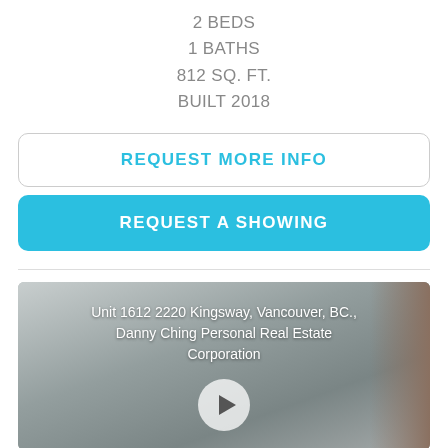2 BEDS
1 BATHS
812 SQ. FT.
BUILT 2018
REQUEST MORE INFO
REQUEST A SHOWING
[Figure (screenshot): Video thumbnail showing interior of Unit 1612 2220 Kingsway, Vancouver, BC., with overlaid text and play button. Caption reads: Unit 1612 2220 Kingsway, Vancouver, BC., Danny Ching Personal Real Estate Corporation]